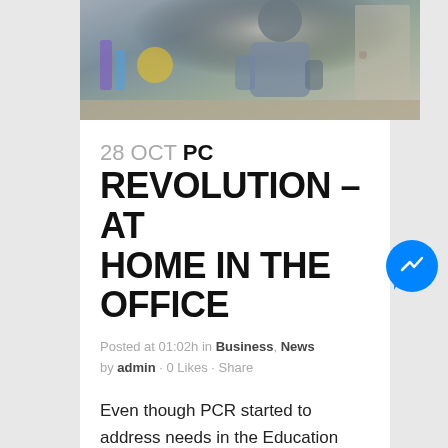[Figure (photo): A man working at a desk in an office environment, blurred background with colorful items]
28 OCT PC REVOLUTION – AT HOME IN THE OFFICE
Posted at 01:02h in Business, News by admin · 0 Likes · Share
Even though PCR started to address needs in the Education sector - PC Revolution tablets are just as much at home in an office environment as